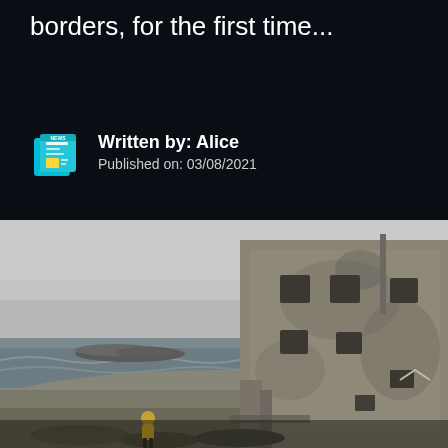borders, for the first time...
Written by: Alice
Published on: 03/08/2021
[Figure (photo): A person in a yellow jacket walks on a beach near a large deteriorating concrete building. The sea is rough and overcast. There is a rocky breakwater visible in the background.]